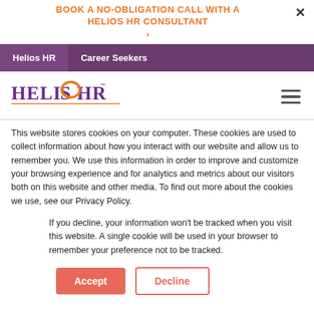BOOK A NO-OBLIGATION CALL WITH A HELIOS HR CONSULTANT
Helios HR  Career Seekers
[Figure (logo): Helios HR logo with orange arc and purple text]
This website stores cookies on your computer. These cookies are used to collect information about how you interact with our website and allow us to remember you. We use this information in order to improve and customize your browsing experience and for analytics and metrics about our visitors both on this website and other media. To find out more about the cookies we use, see our Privacy Policy.
If you decline, your information won't be tracked when you visit this website. A single cookie will be used in your browser to remember your preference not to be tracked.
Accept  Decline